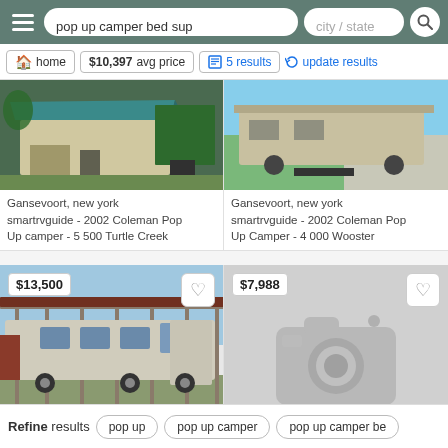pop up camper bed sup | city / state
home | $10,397 avg price | 5 results | update results
[Figure (photo): Pop up camper exterior photo, teal/green canvas, Gansevoort New York listing]
Gansevoort, new york
smartrvguide - 2002 Coleman Pop Up camper - 5 500 Turtle Creek
[Figure (photo): Pop up camper on grass/driveway, Gansevoort New York listing]
Gansevoort, new york
smartrvguide - 2002 Coleman Pop Up Camper - 4 000 Wooster
[Figure (photo): Class A motorhome RV under metal carport, $13,500]
[Figure (photo): No image placeholder with camera icon, $7,988]
Refine results  pop up  pop up camper  pop up camper be